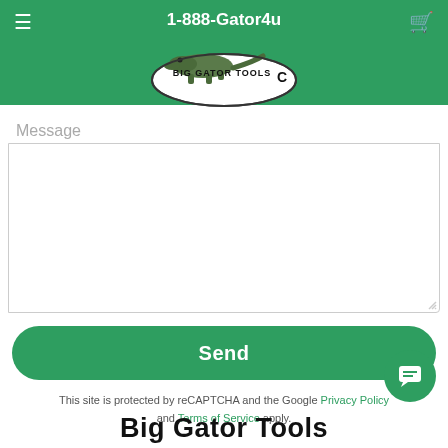1-888-Gator4u
[Figure (logo): Big Gator Tools logo — oval with alligator/dinosaur image and company name]
Email*
Message
Send
This site is protected by reCAPTCHA and the Google Privacy Policy and Terms of Service apply.
Big Gator Tools